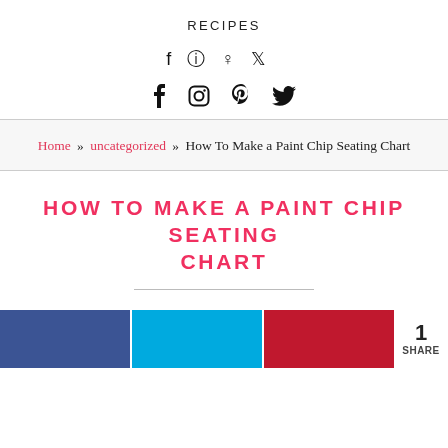RECIPES
Social icons: Facebook, Instagram, Pinterest, Twitter
Home » uncategorized » How To Make a Paint Chip Seating Chart
HOW TO MAKE A PAINT CHIP SEATING CHART
[Figure (infographic): Share bar with Facebook (blue), Twitter (light blue), Pinterest (red) buttons and a share count showing 1 SHARE]